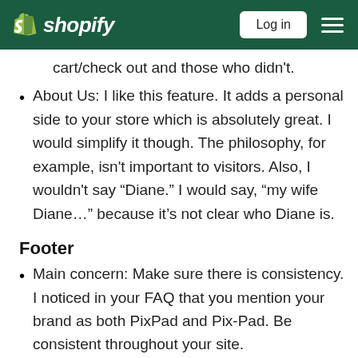shopify — Log in — menu
cart/check out and those who didn't.
About Us: I like this feature. It adds a personal side to your store which is absolutely great. I would simplify it though. The philosophy, for example, isn't important to visitors. Also, I wouldn't say “Diane.” I would say, “my wife Diane…” because it’s not clear who Diane is.
Footer
Main concern: Make sure there is consistency. I noticed in your FAQ that you mention your brand as both PixPad and Pix-Pad. Be consistent throughout your site.